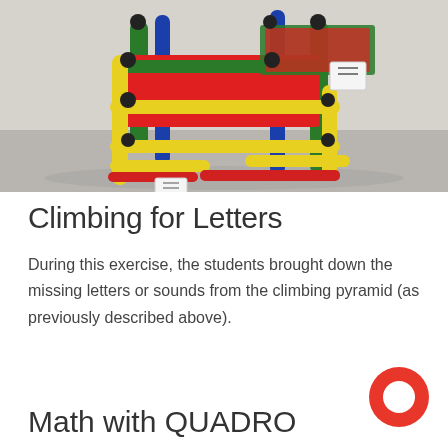[Figure (photo): Colorful children's climbing structure (QUADRO pyramid) made of red, yellow, green, and blue plastic tubes, with red flat surfaces/platforms, sitting on a gray floor in what appears to be an indoor setting. Small paper cards with drawings are attached to the structure.]
Climbing for Letters
During this exercise, the students brought down the missing letters or sounds from the climbing pyramid (as previously described above).
Math with QUADRO